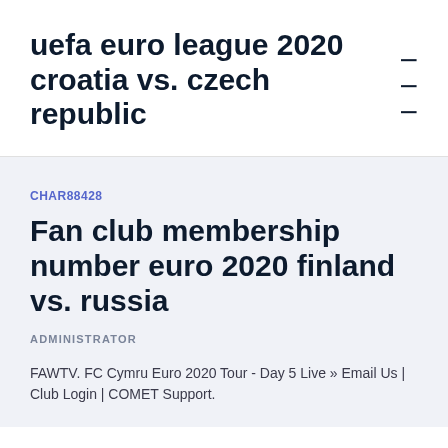uefa euro league 2020 croatia vs. czech republic
CHAR88428
Fan club membership number euro 2020 finland vs. russia
ADMINISTRATOR
FAWTV. FC Cymru Euro 2020 Tour - Day 5 Live » Email Us | Club Login | COMET Support.